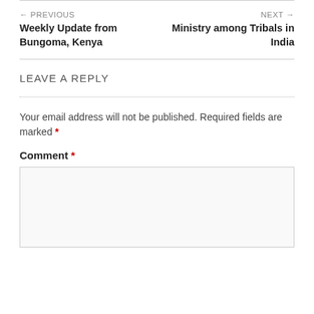← PREVIOUS
Weekly Update from Bungoma, Kenya
NEXT →
Ministry among Tribals in India
LEAVE A REPLY
Your email address will not be published. Required fields are marked *
Comment *